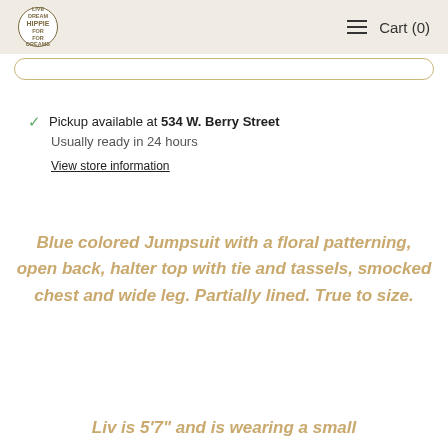HIPPIE | Cart (0)
Pickup available at 534 W. Berry Street
Usually ready in 24 hours
View store information
Blue colored Jumpsuit with a floral patterning, open back, halter top with tie and tassels, smocked chest and wide leg. Partially lined. True to size.
Liv is 5'7" and is wearing a small